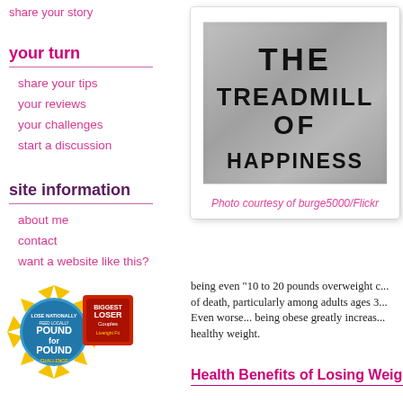share your story
your turn
share your tips
your reviews
your challenges
start a discussion
site information
about me
contact
want a website like this?
[Figure (photo): Metal surface engraved with text THE TREADMILL OF HAPPINESS]
Photo courtesy of burge5000/Flickr
[Figure (logo): Pound for Pound Challenge badge with Biggest Loser Couples branding]
being even "10 to 20 pounds overweight c... of death, particularly among adults ages 3... Even worse... being obese greatly increas... healthy weight.
Health Benefits of Losing Weight